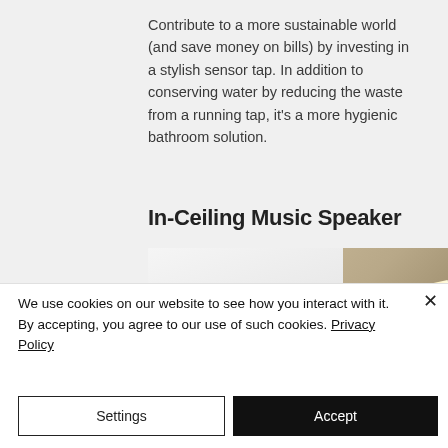Contribute to a more sustainable world (and save money on bills) by investing in a stylish sensor tap. In addition to conserving water by reducing the waste from a running tap, it's a more hygienic bathroom solution.
In-Ceiling Music Speaker
[Figure (photo): Interior photo of a bathroom ceiling showing recessed in-ceiling speaker, LED strip lighting on the right wall, and white ceiling panels]
We use cookies on our website to see how you interact with it. By accepting, you agree to our use of such cookies. Privacy Policy
Settings
Accept